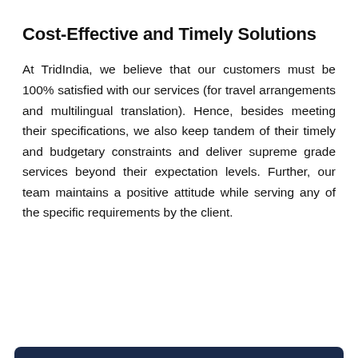Cost-Effective and Timely Solutions
At TridIndia, we believe that our customers must be 100% satisfied with our services (for travel arrangements and multilingual translation). Hence, besides meeting their specifications, we also keep tandem of their timely and budgetary constraints and deliver supreme grade services beyond their expectation levels. Further, our team maintains a positive attitude while serving any of the specific requirements by the client.